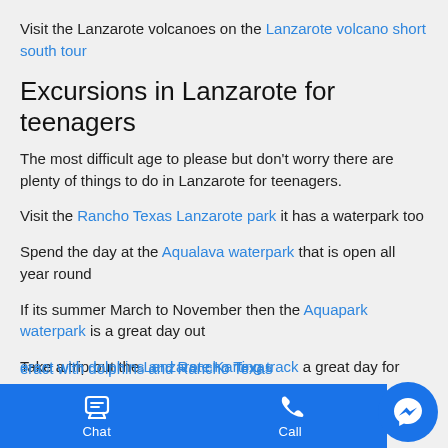Visit the Lanzarote volcanoes on the Lanzarote volcano short south tour
Excursions in Lanzarote for teenagers
The most difficult age to please but don't worry there are plenty of things to do in Lanzarote for teenagers.
Visit the Rancho Texas Lanzarote park it has a waterpark too
Spend the day at the Aqualava waterpark that is open all year round
If its summer March to November then the Aquapark waterpark is a great day out
Take a trip out the Lanzarote Karting track a great day for teens
eract with dolphins and Rancho Texas
Chat  Call